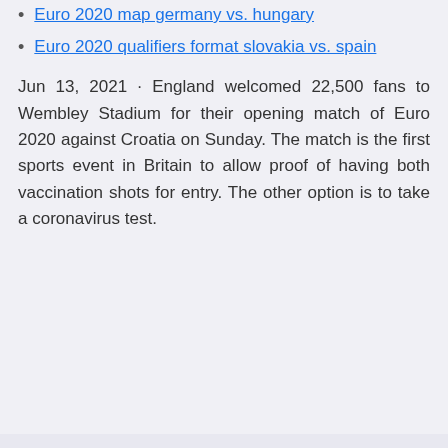Euro 2020 map germany vs. hungary
Euro 2020 qualifiers format slovakia vs. spain
Jun 13, 2021 · England welcomed 22,500 fans to Wembley Stadium for their opening match of Euro 2020 against Croatia on Sunday. The match is the first sports event in Britain to allow proof of having both vaccination shots for entry. The other option is to take a coronavirus test.